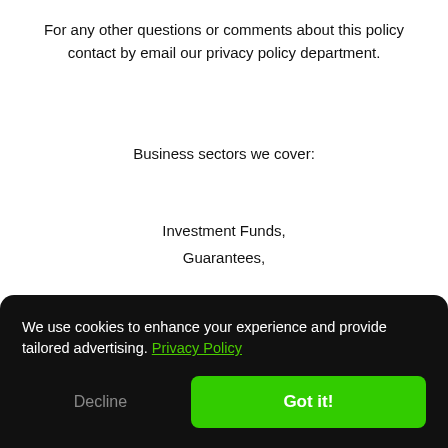For any other questions or comments about this policy contact by email our privacy policy department.
Business sectors we cover:
Investment Funds,
Guarantees,
We use cookies to enhance your experience and provide tailored advertising. Privacy Policy
Decline
Got it!
Bonds,